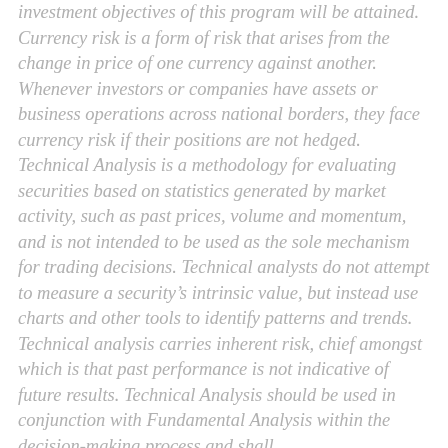investment objectives of this program will be attained. Currency risk is a form of risk that arises from the change in price of one currency against another. Whenever investors or companies have assets or business operations across national borders, they face currency risk if their positions are not hedged. Technical Analysis is a methodology for evaluating securities based on statistics generated by market activity, such as past prices, volume and momentum, and is not intended to be used as the sole mechanism for trading decisions. Technical analysts do not attempt to measure a security's intrinsic value, but instead use charts and other tools to identify patterns and trends. Technical analysis carries inherent risk, chief amongst which is that past performance is not indicative of future results. Technical Analysis should be used in conjunction with Fundamental Analysis within the decision-making process and shall